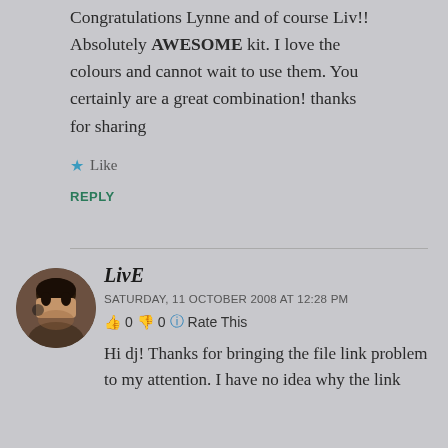Congratulations Lynne and of course Liv!! Absolutely AWESOME kit. I love the colours and cannot wait to use them. You certainly are a great combination! thanks for sharing
★ Like
REPLY
LivE
SATURDAY, 11 OCTOBER 2008 AT 12:28 PM
👍 0 👎 0 🔵 Rate This
Hi dj! Thanks for bringing the file link problem to my attention. I have no idea why the link